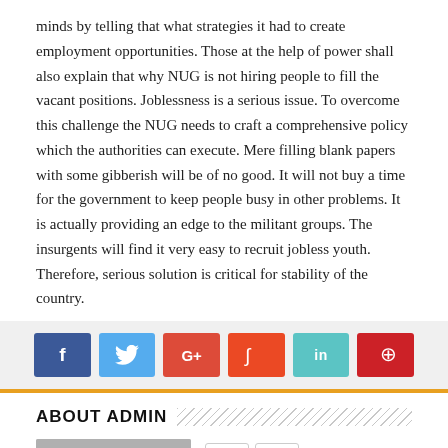minds by telling that what strategies it had to create employment opportunities. Those at the help of power shall also explain that why NUG is not hiring people to fill the vacant positions. Joblessness is a serious issue. To overcome this challenge the NUG needs to craft a comprehensive policy which the authorities can execute. Mere filling blank papers with some gibberish will be of no good. It will not buy a time for the government to keep people busy in other problems. It is actually providing an edge to the militant groups. The insurgents will find it very easy to recruit jobless youth. Therefore, serious solution is critical for stability of the country.
[Figure (infographic): Social media share buttons: Facebook (blue), Twitter (light blue), Google+ (red), StumbleUpon (orange-red), LinkedIn (teal), Pinterest (dark red)]
ABOUT ADMIN
[Figure (infographic): Profile avatar placeholder (gray circle on gray background) with social buttons for Facebook and Twitter, and an orange scroll-to-top arrow button]